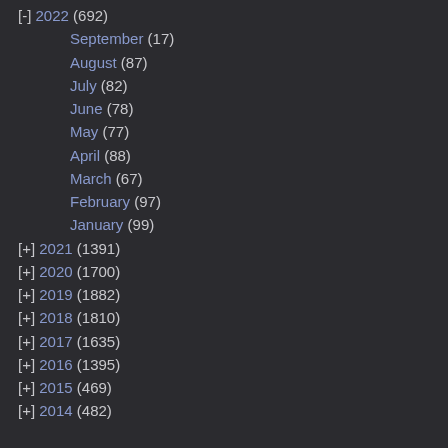[-] 2022 (692)
September (17)
August (87)
July (82)
June (78)
May (77)
April (88)
March (67)
February (97)
January (99)
[+] 2021 (1391)
[+] 2020 (1700)
[+] 2019 (1882)
[+] 2018 (1810)
[+] 2017 (1635)
[+] 2016 (1395)
[+] 2015 (469)
[+] 2014 (482)